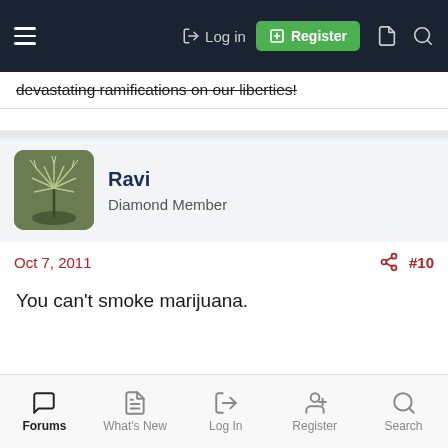Log in | Register
devastating ramifications on our liberties!
Ravi
Diamond Member
Oct 7, 2011  #10
You can't smoke marijuana.
Forums | What's New | Log In | Register | Search